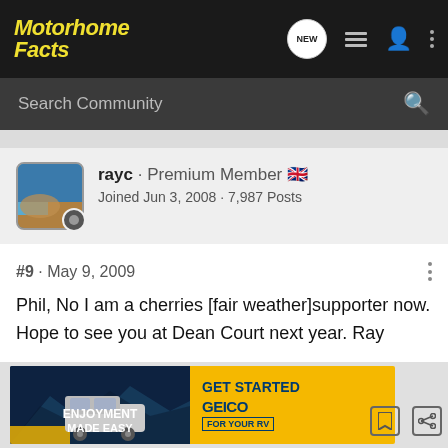Motorhome Facts
Search Community
rayc · Premium Member 🇬🇧
Joined Jun 3, 2008 · 7,987 Posts
#9 · May 9, 2009
Phil, No I am a cherries [fair weather]supporter now. Hope to see you at Dean Court next year. Ray
[Figure (screenshot): GEICO advertisement banner: 'ENJOYMENT MADE EASY' on left with motorhome vehicle image, 'GET STARTED GEICO FOR YOUR RV' on yellow right side]